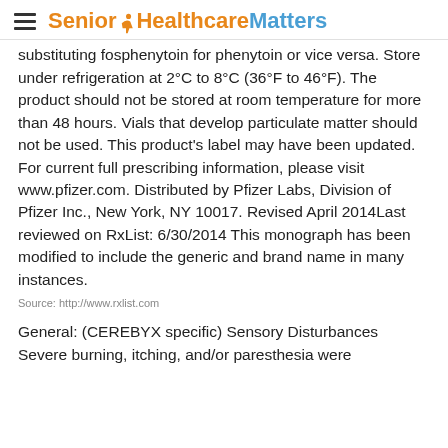Senior HealthcareMatters
substituting fosphenytoin for phenytoin or vice versa. Store under refrigeration at 2°C to 8°C (36°F to 46°F). The product should not be stored at room temperature for more than 48 hours. Vials that develop particulate matter should not be used. This product's label may have been updated. For current full prescribing information, please visit www.pfizer.com. Distributed by Pfizer Labs, Division of Pfizer Inc., New York, NY 10017. Revised April 2014Last reviewed on RxList: 6/30/2014 This monograph has been modified to include the generic and brand name in many instances.
Source: http://www.rxlist.com
General: (CEREBYX specific) Sensory Disturbances Severe burning, itching, and/or paresthesia were